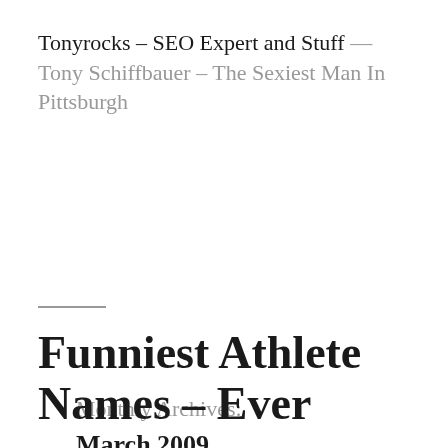Tonyrocks – SEO Expert and Stuff — Tony Schiffbauer – The Sexiest Man In Pittsburgh
Monthly Archives: March 2009
Funniest Athlete Names – Ever